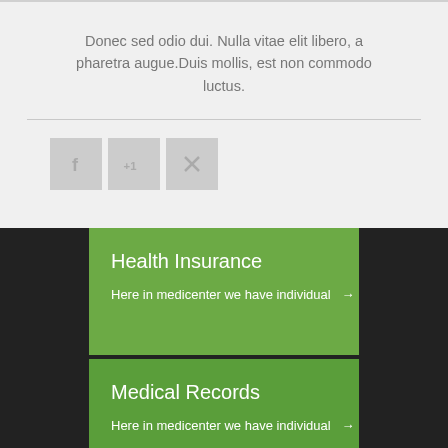Donec sed odio dui. Nulla vitae elit libero, a pharetra augue.Duis mollis, est non commodo luctus.
[Figure (other): Three social sharing icon buttons: Facebook (f), Google+1, and close/cancel (X)]
Health Insurance
Here in medicenter we have individual →
Medical Records
Here in medicenter we have individual →
Online Bill Pay